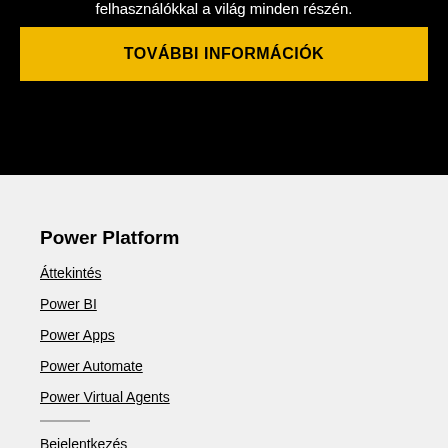felhasználókkal a világ minden részén.
TOVÁBBI INFORMÁCIÓK
Power Platform
Áttekintés
Power BI
Power Apps
Power Automate
Power Virtual Agents
Bejelentkezés